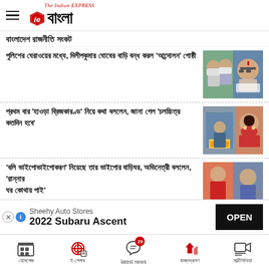IE Bangla - The Indian Express
বাংলাদেশ রাজনীতি সংকট
পুলিশের ঘেরাওয়ের মধ্যে, দিলীপকুমার ঘোষের বাড়ি বন্ধ করল 'আন্দোলন' গোষ্ঠী
প্রথম বার 'হাওড়া ব্রিজকারণ্ড' নিয়ে কথা বললেন, জানা গেল 'চলচ্চিত্র কতদিন হবে'
'বলি ভাইপোভাইপোকরণ' নিয়েছে তার ভাইপোর বাড়িঘর, অভিনেত্রী বললেন, 'রান্নার ঘর কোথায় পাই'
[Figure (screenshot): Advertisement banner: Sheehy Auto Stores - 2022 Subaru Ascent, with OPEN button]
Bottom navigation: হোমপেজ | ই-পেপার | latest news 29 | রাজ্যভ্রমণ | মাল্টিমিডিয়া